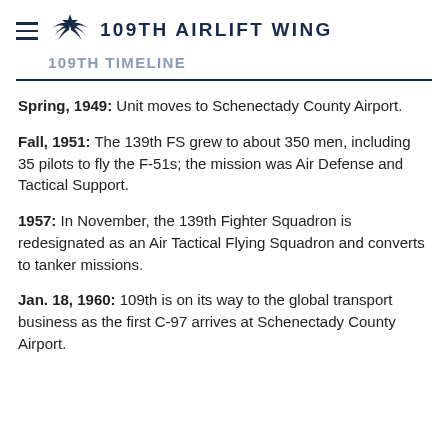109TH AIRLIFT WING
109TH TIMELINE
Spring, 1949: Unit moves to Schenectady County Airport.
Fall, 1951: The 139th FS grew to about 350 men, including 35 pilots to fly the F-51s; the mission was Air Defense and Tactical Support.
1957: In November, the 139th Fighter Squadron is redesignated as an Air Tactical Flying Squadron and converts to tanker missions.
Jan. 18, 1960: 109th is on its way to the global transport business as the first C-97 arrives at Schenectady County Airport.